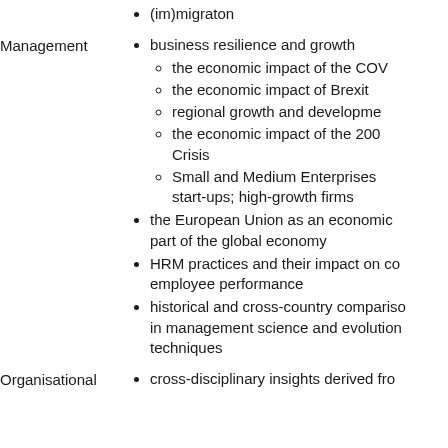(im)migraton
Management
business resilience and growth
the economic impact of the COV
the economic impact of Brexit
regional growth and developme
the economic impact of the 200 Crisis
Small and Medium Enterprises start-ups; high-growth firms
the European Union as an economic part of the global economy
HRM practices and their impact on co employee performance
historical and cross-country compariso in management science and evolution techniques
Organisational
cross-disciplinary insights derived fro